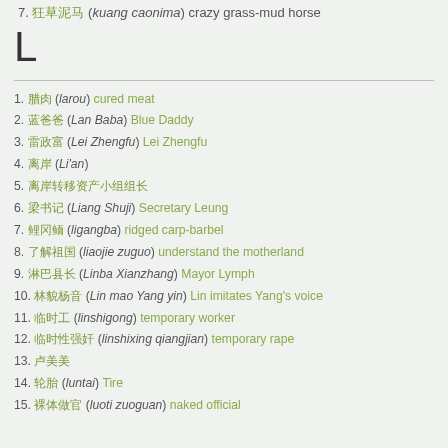7. 狂草泥马 (kuang caonima) crazy grass-mud horse
L
1. 腊肉 (larou) cured meat
2. 蓝爸爸 (Lan Baba) Blue Daddy
3. 雷政富 (Lei Zhengfu) Lei Zhengfu
4. 离岸 (Li'an)
5. 离岸转移资产小组组长
6. 梁书记 (Liang Shuji) Secretary Leung
7. 鲤冈鲕 (ligangba) ridged carp-barbel
8. 了解祖国 (liaojie zuguo) understand the motherland
9. 淋巴县长 (Linba Xianzhang) Mayor Lymph
10. 林貌杨音 (Lin mao Yang yin) Lin imitates Yang's voice
11. 临时工 (linshigong) temporary worker
12. 临时性强奸 (linshixing qiangjian) temporary rape
13. 卢美美
14. 轮胎 (luntai) Tire
15. 裸体做官 (luoti zuoguan) naked official